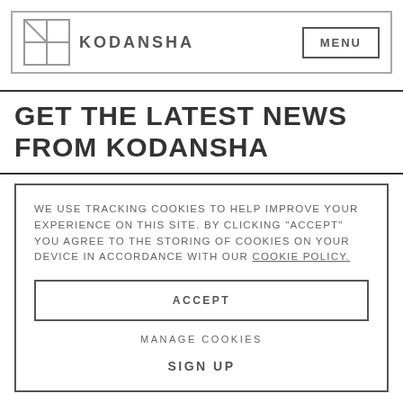KODANSHA  MENU
GET THE LATEST NEWS FROM KODANSHA
WE USE TRACKING COOKIES TO HELP IMPROVE YOUR EXPERIENCE ON THIS SITE. BY CLICKING "ACCEPT" YOU AGREE TO THE STORING OF COOKIES ON YOUR DEVICE IN ACCORDANCE WITH OUR COOKIE POLICY.
ACCEPT
MANAGE COOKIES
SIGN UP